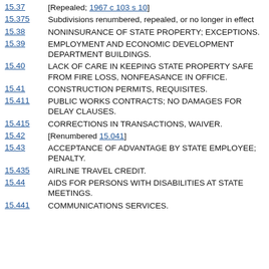15.37 [Repealed; 1967 c 103 s 10]
15.375 Subdivisions renumbered, repealed, or no longer in effect
15.38 NONINSURANCE OF STATE PROPERTY; EXCEPTIONS.
15.39 EMPLOYMENT AND ECONOMIC DEVELOPMENT DEPARTMENT BUILDINGS.
15.40 LACK OF CARE IN KEEPING STATE PROPERTY SAFE FROM FIRE LOSS, NONFEASANCE IN OFFICE.
15.41 CONSTRUCTION PERMITS, REQUISITES.
15.411 PUBLIC WORKS CONTRACTS; NO DAMAGES FOR DELAY CLAUSES.
15.415 CORRECTIONS IN TRANSACTIONS, WAIVER.
15.42 [Renumbered 15.041]
15.43 ACCEPTANCE OF ADVANTAGE BY STATE EMPLOYEE; PENALTY.
15.435 AIRLINE TRAVEL CREDIT.
15.44 AIDS FOR PERSONS WITH DISABILITIES AT STATE MEETINGS.
15.441 COMMUNICATIONS SERVICES.